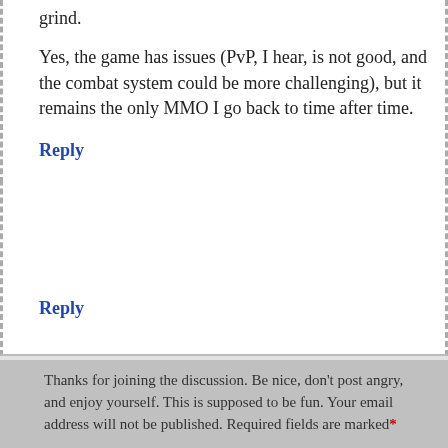grind.
Yes, the game has issues (PvP, I hear, is not good, and the combat system could be more challenging), but it remains the only MMO I go back to time after time.
Reply
Mr Mister says:
Wednesday Sep 5, 2012 at 3:55 am
Bit late to post, but would Guild Wars 2 count as this style of game?
Reply
Thanks for joining the discussion. Be nice, don't post angry, and enjoy yourself. This is supposed to be fun. Your email address will not be published. Required fields are marked*